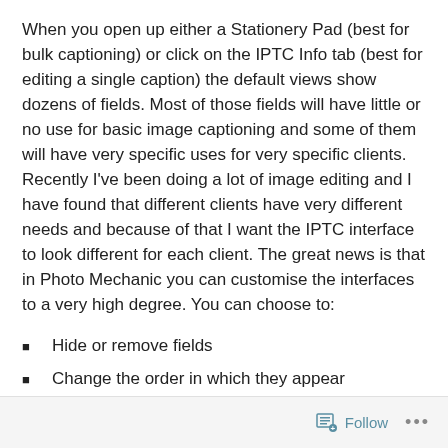When you open up either a Stationery Pad (best for bulk captioning) or click on the IPTC Info tab (best for editing a single caption) the default views show dozens of fields. Most of those fields will have little or no use for basic image captioning and some of them will have very specific uses for very specific clients. Recently I've been doing a lot of image editing and I have found that different clients have very different needs and because of that I want the IPTC interface to look different for each client. The great news is that in Photo Mechanic you can customise the interfaces to a very high degree. You can choose to:
Hide or remove fields
Change the order in which they appear
Follow ...